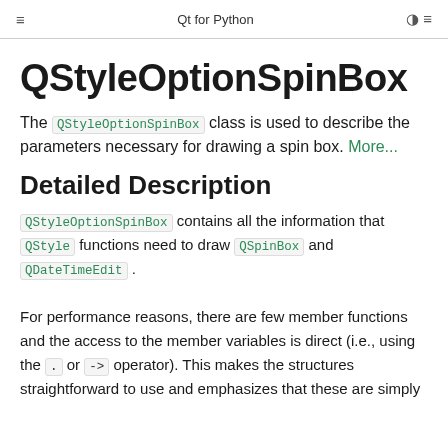Qt for Python
QStyleOptionSpinBox
The QStyleOptionSpinBox class is used to describe the parameters necessary for drawing a spin box. More...
Detailed Description
QStyleOptionSpinBox contains all the information that QStyle functions need to draw QSpinBox and QDateTimeEdit .
For performance reasons, there are few member functions and the access to the member variables is direct (i.e., using the . or -> operator). This makes the structures straightforward to use and emphasizes that these are simply